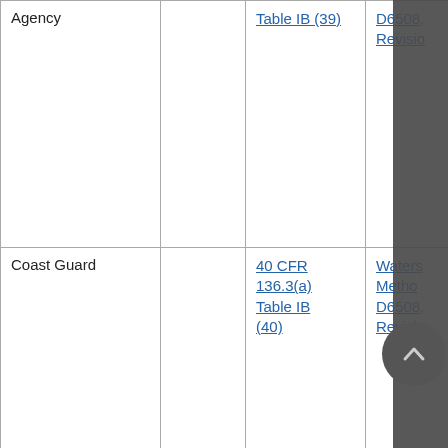|  |  |  |  |
| --- | --- | --- | --- |
| Agency |  | Table IB (39) | D6508, Revisio... |
| Coast Guard |  | 40 CFR 136.3(a) Table IB (40) | Waters Method D6508, Revisio... |
|  |  |  |  |